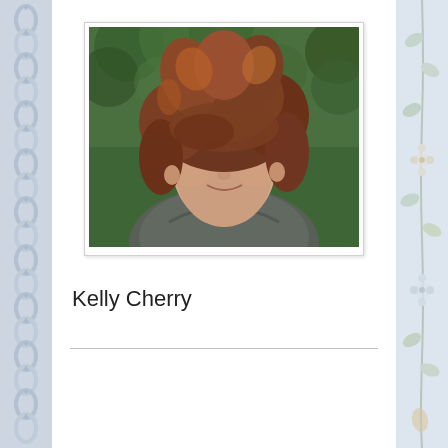[Figure (photo): Portrait photograph of Kelly Cherry, a woman with voluminous reddish-brown hair with orange highlights, wearing a dark grey top, photographed outdoors in front of green foliage/bushes]
Kelly Cherry
[Figure (illustration): Left decorative border with rope/chain pattern in blue-grey tones]
[Figure (illustration): Right decorative border with floral pattern in soft blue and cream tones]